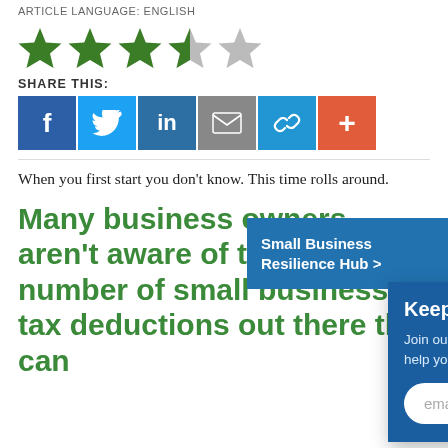ARTICLE LANGUAGE: English
[Figure (other): Star rating: 3.5 out of 5 stars (4 colored, 1 half, 1 empty)]
SHARE THIS:
[Figure (other): Social share buttons: Facebook, Twitter, LinkedIn, Email, Link, More]
[Figure (other): Small Business Resilience Hub button (blue overlay, top right)]
When you first start you don't know. This time rolls around.
[Figure (other): Keep Up With SCORE Rho... newsletter signup panel overlay. Join our list and stay up-to-date webinars designed to help you s... grow a successful business. Email address input field.]
Many business owners aren't aware of the abundant number of small business tax deductions out there that can